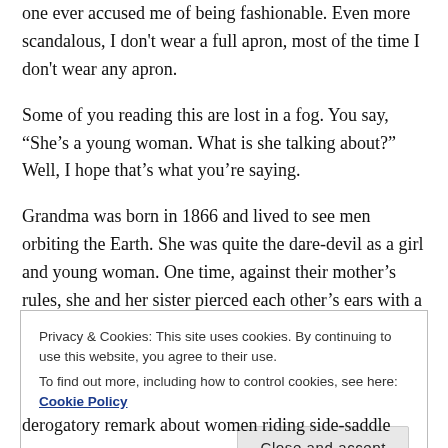one ever accused me of being fashionable. Even more scandalous, I don't wear a full apron, most of the time I don't wear any apron.
Some of you reading this are lost in a fog. You say, “She’s a young woman. What is she talking about?” Well, I hope that’s what you’re saying.
Grandma was born in 1866 and lived to see men orbiting the Earth. She was quite the dare-devil as a girl and young woman. One time, against their mother’s rules, she and her sister pierced each other’s ears with a darning needle and heavy thread to keep the
Privacy & Cookies: This site uses cookies. By continuing to use this website, you agree to their use.
To find out more, including how to control cookies, see here: Cookie Policy
derogatory remark about women riding side-saddle